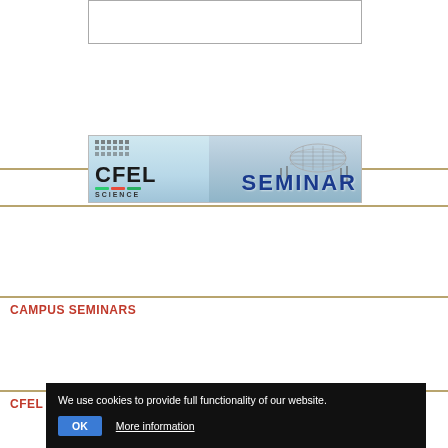[Figure (screenshot): Partially visible white box with border at top of page]
[Figure (logo): CFEL Science Seminar banner with building photograph and logo]
CAMPUS SEMINARS
CFEL CONFERENCES
We use cookies to provide full functionality of our website. OK More information